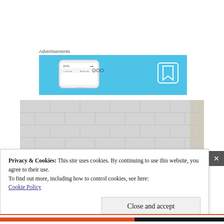Advertisements
[Figure (screenshot): Advertisement banner with light blue background showing a smartphone and a bookmark icon]
[Figure (photo): Photo of a tiled wall or floor surface, light gray/white tiles]
Privacy & Cookies: This site uses cookies. By continuing to use this website, you agree to their use.
To find out more, including how to control cookies, see here:
Cookie Policy
Close and accept